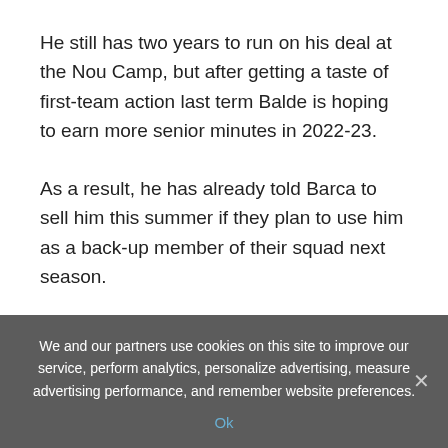He still has two years to run on his deal at the Nou Camp, but after getting a taste of first-team action last term Balde is hoping to earn more senior minutes in 2022-23.
As a result, he has already told Barca to sell him this summer if they plan to use him as a back-up member of their squad next season.
[Figure (photo): A man with grey-blond hair wearing sunglasses, smiling, photographed outdoors.]
We and our partners use cookies on this site to improve our service, perform analytics, personalize advertising, measure advertising performance, and remember website preferences.